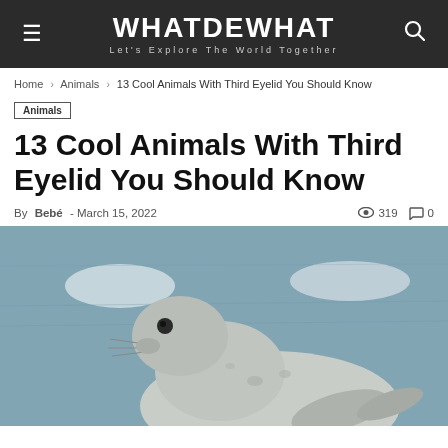WHATDEWHAT — Let's Explore The World Together
Home › Animals › 13 Cool Animals With Third Eyelid You Should Know
Animals
13 Cool Animals With Third Eyelid You Should Know
By Bebé - March 15, 2022   319   0
[Figure (photo): A seal resting on ice with a blue water and ice background, looking toward camera]